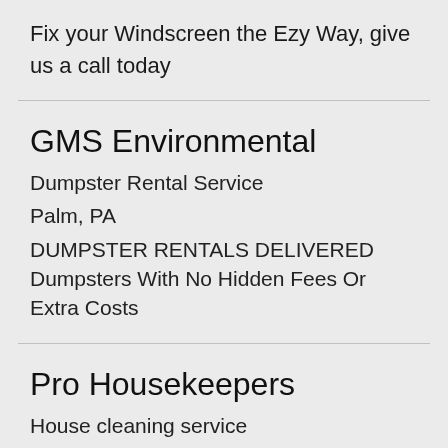Fix your Windscreen the Ezy Way, give us a call today
GMS Environmental
Dumpster Rental Service
Palm, PA
DUMPSTER RENTALS DELIVERED Dumpsters With No Hidden Fees Or Extra Costs
Pro Housekeepers
House cleaning service
Tampa, Florida
HIRE TRUSTED HOUSEKEEPERS READY TO